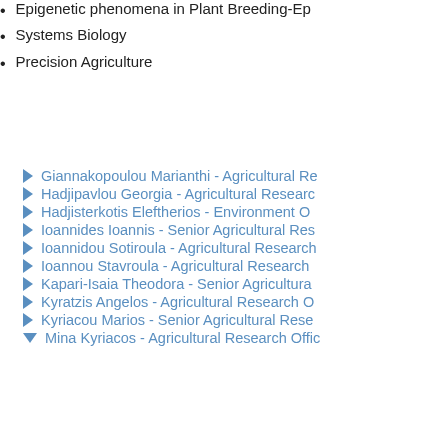Epigenetic phenomena in Plant Breeding-Ep...
Systems Biology
Precision Agriculture
Giannakopoulou Marianthi - Agricultural R...
Hadjipavlou Georgia - Agricultural Resear...
Hadjisterkotis Eleftherios - Environment O...
Ioannides Ioannis - Senior Agricultural Res...
Ioannidou Sotiroula - Agricultural Research...
Ioannou Stavroula - Agricultural Research...
Kapari-Isaia Theodora - Senior Agricultura...
Kyratzis Angelos - Agricultural Research O...
Kyriacou Marios - Senior Agricultural Rese...
Mina Kyriacos - Agricultural Research Offic...
Contact Information
Tel.: +357-22403129
Email: kyriacos.mina@ari.gov.cy
Research Interests
Cultivation of fodder plants
Variety Examination Center